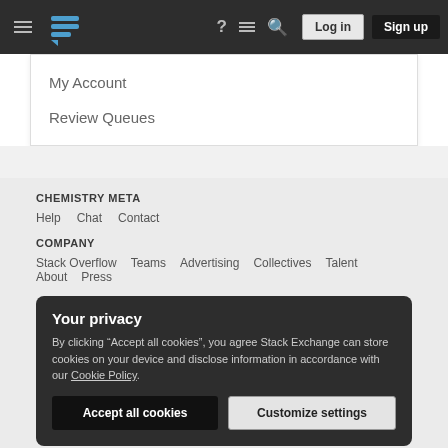Navigation bar with hamburger menu, Stack Exchange logo, help, chat, search icons, Log in and Sign up buttons
My Account
Review Queues
CHEMISTRY META
Help  Chat  Contact
COMPANY
Stack Overflow   Teams   Advertising   Collectives   Talent   About   Press
Your privacy
By clicking "Accept all cookies", you agree Stack Exchange can store cookies on your device and disclose information in accordance with our Cookie Policy.
Accept all cookies   Customize settings
Blog   Facebook   Twitter   LinkedIn   Instagram